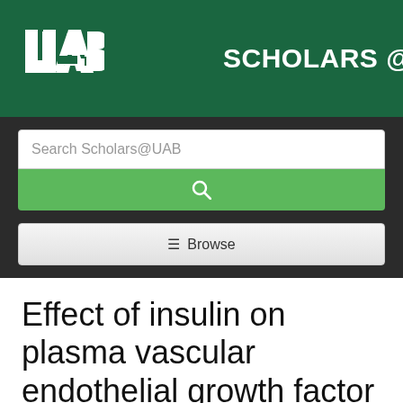[Figure (logo): UAB Scholars @ UAB logo with green background, UAB logo mark on left, vertical white divider, and 'SCHOLARS @ UAB' text in white on right]
Search Scholars@UAB
Effect of insulin on plasma vascular endothelial growth factor in children with new-onset diabetes